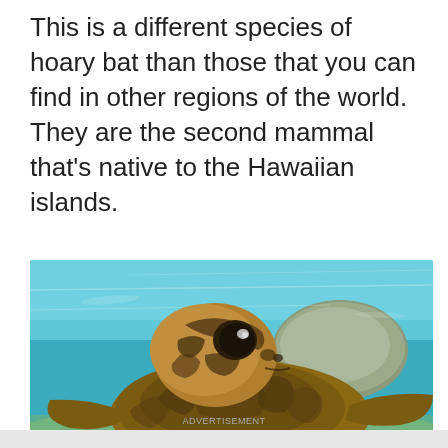This is a different species of hoary bat than those that you can find in other regions of the world. They are the second mammal that’s native to the Hawaiian islands.
[Figure (photo): Underwater photograph of a sea turtle close-up, facing the camera with turquoise water and a large rock in the background.]
ADVERTISEMENT